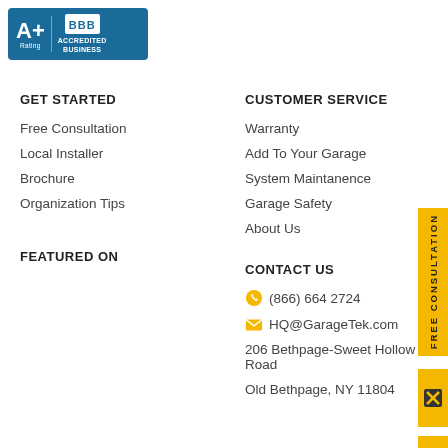[Figure (logo): BBB Accredited Business badge with A+ Rating in blue]
GET STARTED
Free Consultation
Local Installer
Brochure
Organization Tips
FEATURED ON
CUSTOMER SERVICE
Warranty
Add To Your Garage
System Maintanence
Garage Safety
About Us
CONTACT US
(866) 664 2724
HQ@GarageTek.com
206 Bethpage-Sweet Hollow Road
Old Bethpage, NY 11804